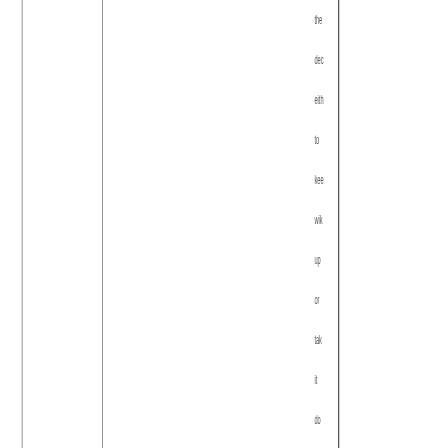the dec eith to kee wik up or tak it do if it cou hav poi to so rea pro bas on a pol (ev jus its